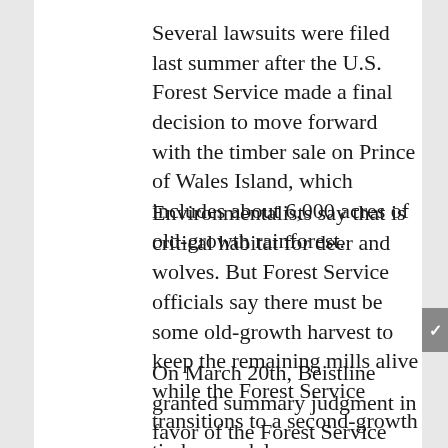Several lawsuits were filed last summer after the U.S. Forest Service made a final decision to move forward with the timber sale on Prince of Wales Island, which includes about 6,000 acres of old-growth rainforest.
Environmentalists say that is critical habitat for deer and wolves. But Forest Service officials say there must be some old-growth harvest to keep the remaining mills alive while the Forest Service transitions to a second-growth timber model.
On March 20th, Beistline granted summary judgment in favor of the Forest Service and other defendants, and rejected all the arguments brought forward by environmental groups. The court had consolidated cases filed by two different sets of plaintiffs, but each set is appealing